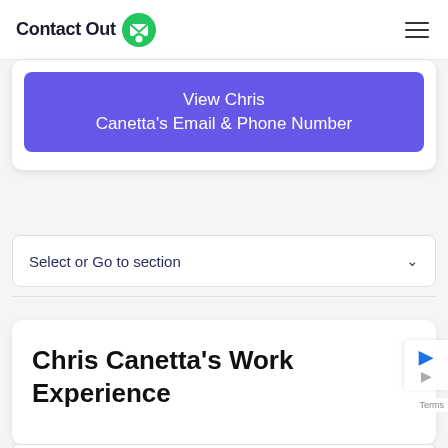ContactOut
View Chris Canetta's Email & Phone Number
Select or Go to section
Chris Canetta's Work Experience